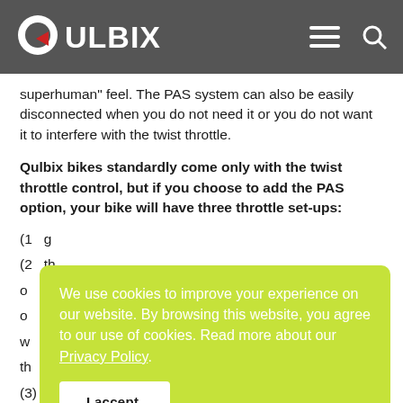QULBIX
superhuman" feel. The PAS system can also be easily disconnected when you do not need it or you do not want it to interfere with the twist throttle.
Qulbix bikes standardly come only with the twist throttle control, but if you choose to add the PAS option, your bike will have three throttle set-ups:
(1) [partially obscured]
(2) [partially obscured]
(3) Pedal assist – use only pedals to control throttle
We use cookies to improve your experience on our website. By browsing this website, you agree to our use of cookies. Read more about our Privacy Policy.